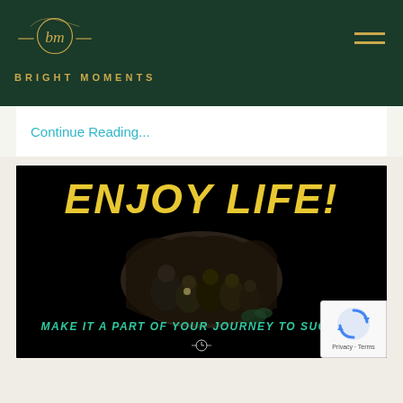BRIGHT MOMENTS
Continue Reading...
[Figure (illustration): Dark themed promotional image with bold yellow italic text 'ENJOY LIFE!' at top, a group photo of people in a cave or dark setting in center, teal italic text 'MAKE IT A PART OF YOUR JOURNEY TO SUCCESS' at bottom, and a clock icon below that.]
[Figure (logo): Google reCAPTCHA badge with reCAPTCHA logo and Privacy - Terms text]